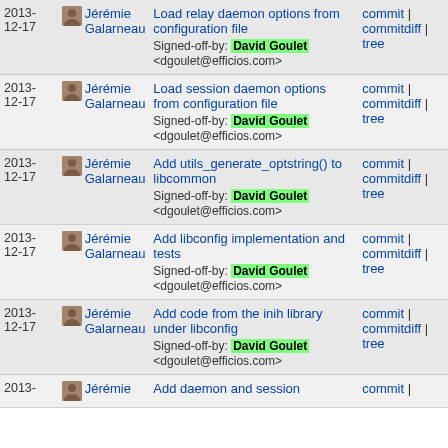| Date | Author | Commit | Links |
| --- | --- | --- | --- |
| 2013-12-17 | Jérémie Galarneau | Load relay daemon options from configuration file
Signed-off-by: David Goulet <dgoulet@efficios.com> | commit | commitdiff | tree |
| 2013-12-17 | Jérémie Galarneau | Load session daemon options from configuration file
Signed-off-by: David Goulet <dgoulet@efficios.com> | commit | commitdiff | tree |
| 2013-12-17 | Jérémie Galarneau | Add utils_generate_optstring() to libcommon
Signed-off-by: David Goulet <dgoulet@efficios.com> | commit | commitdiff | tree |
| 2013-12-17 | Jérémie Galarneau | Add libconfig implementation and tests
Signed-off-by: David Goulet <dgoulet@efficios.com> | commit | commitdiff | tree |
| 2013-12-17 | Jérémie Galarneau | Add code from the inih library under libconfig
Signed-off-by: David Goulet <dgoulet@efficios.com> | commit | commitdiff | tree |
| 2013- | Jérémie | Add daemon and session | commit | |